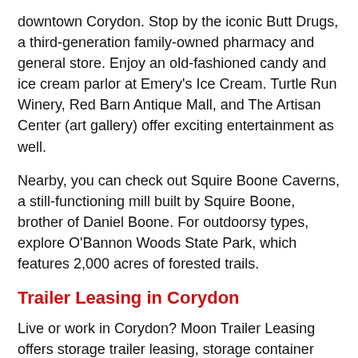downtown Corydon. Stop by the iconic Butt Drugs, a third-generation family-owned pharmacy and general store. Enjoy an old-fashioned candy and ice cream parlor at Emery's Ice Cream. Turtle Run Winery, Red Barn Antique Mall, and The Artisan Center (art gallery) offer exciting entertainment as well.
Nearby, you can check out Squire Boone Caverns, a still-functioning mill built by Squire Boone, brother of Daniel Boone. For outdoorsy types, explore O'Bannon Woods State Park, which features 2,000 acres of forested trails.
Trailer Leasing in Corydon
Live or work in Corydon? Moon Trailer Leasing offers storage trailer leasing, storage container rental, portable office rental, and other services. And, as a full service leasing company, Moon also offers portable